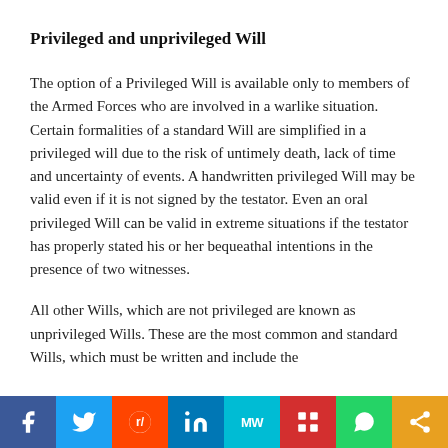Privileged and unprivileged Will
The option of a Privileged Will is available only to members of the Armed Forces who are involved in a warlike situation. Certain formalities of a standard Will are simplified in a privileged will due to the risk of untimely death, lack of time and uncertainty of events. A handwritten privileged Will may be valid even if it is not signed by the testator. Even an oral privileged Will can be valid in extreme situations if the testator has properly stated his or her bequeathal intentions in the presence of two witnesses.
All other Wills, which are not privileged are known as unprivileged Wills. These are the most common and standard Wills, which must be written and include the